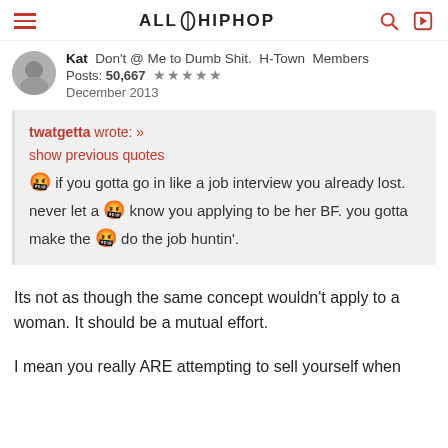ALL HIP HOP
Kat  Don't @ Me to Dumb Shit.  H-Town  Members
Posts: 50,667  ★★★★★
December 2013
twatgetta wrote: »
show previous quotes

🤬 if you gotta go in like a job interview you already lost. never let a 🤬 know you applying to be her BF. you gotta make the 🤬 do the job huntin'.
Its not as though the same concept wouldn't apply to a woman. It should be a mutual effort.
I mean you really ARE attempting to sell yourself when